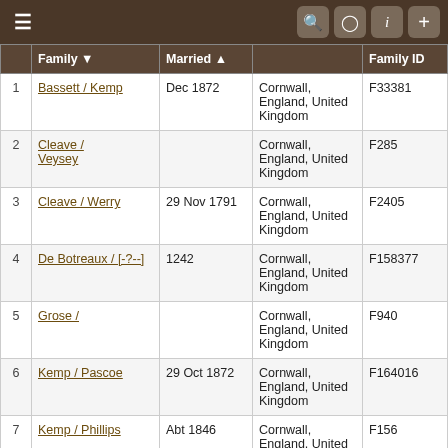Navigation bar with menu, search, camera, info, and add icons
|  | Family ▼ | Married ▲ |  | Family ID |
| --- | --- | --- | --- | --- |
| 1 | Bassett / Kemp | Dec 1872 | Cornwall, England, United Kingdom | F33381 |
| 2 | Cleave / Veysey |  | Cornwall, England, United Kingdom | F285 |
| 3 | Cleave / Werry | 29 Nov 1791 | Cornwall, England, United Kingdom | F2405 |
| 4 | De Botreaux / [-?--] | 1242 | Cornwall, England, United Kingdom | F158377 |
| 5 | Grose / |  | Cornwall, England, United Kingdom | F940 |
| 6 | Kemp / Pascoe | 29 Oct 1872 | Cornwall, England, United Kingdom | F164016 |
| 7 | Kemp / Phillips | Abt 1846 | Cornwall, England, United Kingdom | F156 |
| 8 | Kempe / Flown | 1866 | Cornwall, England, United Kingdom | F25669 |
Note: This site uses cookies.
• View policy
I understand